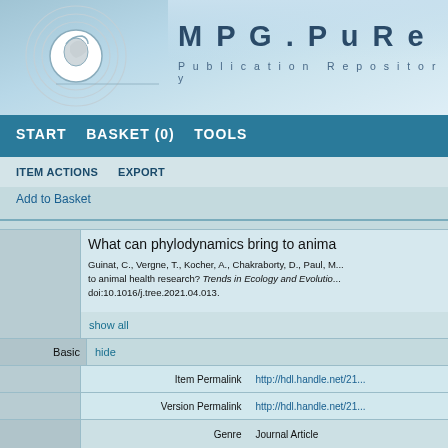[Figure (logo): MPG.PuRe Publication Repository logo with Minerva head icon and concentric circles]
MPG. PuRe Publication Repository
START   BASKET (0)   TOOLS
ITEM ACTIONS   EXPORT
Add to Basket
What can phylodynamics bring to anima...
Guinat, C., Vergne, T., Kocher, A., Chakraborty, D., Paul, ... to animal health research? Trends in Ecology and Evolutio... doi:10.1016/j.tree.2021.04.013.
|  |  | Label | Value |
| --- | --- | --- | --- |
|  | show all |  |  |
| Basic | hide |  |  |
|  |  | Item Permalink | http://hdl.handle.net/21... |
|  |  | Version Permalink | http://hdl.handle.net/21... |
|  |  | Genre | Journal Article |
| Files | hide Files |  |  |